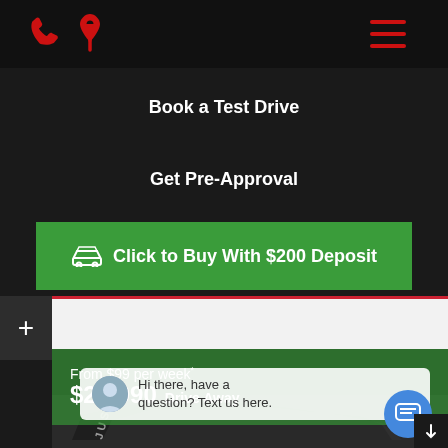[Figure (screenshot): Mobile website top navigation bar with red phone icon, red location pin icon, and hamburger menu icon on dark background]
Book a Test Drive
Get Pre-Approval
Click to Buy With $200 Deposit
2015 Nissan QASHQAI TL J11
From $99 per week*
$25,990 Drive Away
Hi there, have a question? Text us here.
[Figure (photo): Dark coloured Nissan QASHQAI SUV in a car yard with 'JUST ARRIVED' text overlay]